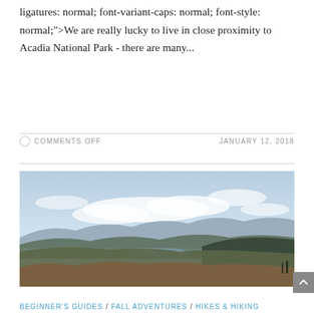ligatures: normal; font-variant-caps: normal; font-style: normal;">We are really lucky to live in close proximity to Acadia National Park - there are many...
COMMENTS OFF   JANUARY 12, 2018
[Figure (photo): Panoramic landscape view from a hilltop looking over rolling forested hills with a lake visible in the middle distance and mountains on the horizon under a partly cloudy sky.]
BEGINNER'S GUIDES / FALL ADVENTURES / HIKES & HIKING